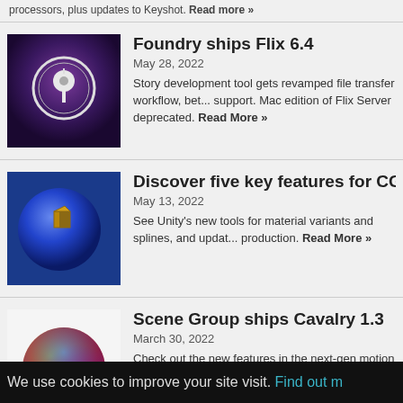processors, plus updates to Keyshot. Read more »
Foundry ships Flix 6.4
May 28, 2022
Story development tool gets revamped file transfer workflow, better support. Mac edition of Flix Server deprecated. Read More »
Discover five key features for CG artists in Unity 20
May 13, 2022
See Unity's new tools for material variants and splines, and updates to production. Read More »
Scene Group ships Cavalry 1.3
March 30, 2022
Check out the new features in the next-gen motion graphics software, shaders and integrated JavaScript scripting. Read More »
Master rigging and Python scripting in Maya
We use cookies to improve your site visit. Find out more